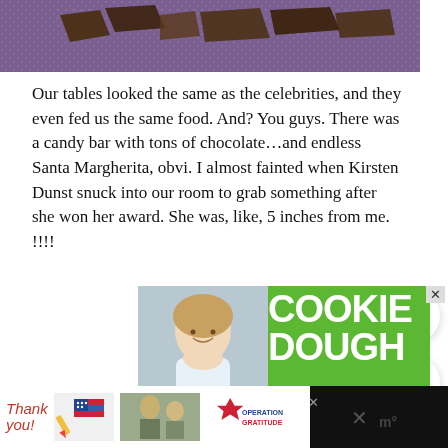[Figure (photo): Top portion of a photo showing chocolate shapes on a purple/glittery surface, partially cropped]
Our tables looked the same as the celebrities, and they even fed us the same food. And? You guys. There was a candy bar with tons of chocolate…and endless Santa Margherita, obvi. I almost fainted when Kirsten Dunst snuck into our room to grab something after she won her award. She was, like, 5 inches from me. !!!!
[Figure (photo): Advertisement banner with green background showing a young smiling girl and text 'COOKIE DOUGH' and 'Childhood cancer']
[Figure (photo): Bottom advertisement bar showing 'Thank you!' text with American flag design and Operation Gratitude logo with military photo]